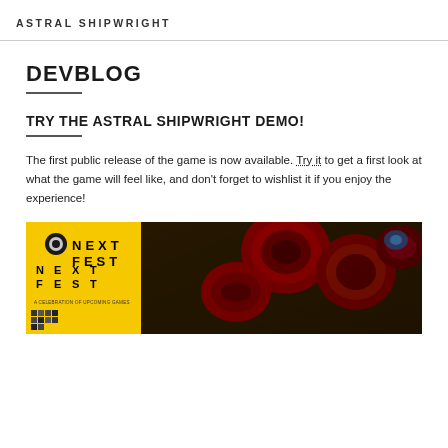ASTRAL SHIPWRIGHT
DEVBLOG
TRY THE ASTRAL SHIPWRIGHT DEMO!
The first public release of the game is now available. Try it to get a first look at what the game will feel like, and don't forget to wishlist it if you enjoy the experience!
[Figure (photo): Steam Next Fest promotional image with yellow Next Fest branding on the left and red/dark mechanical objects on the right]